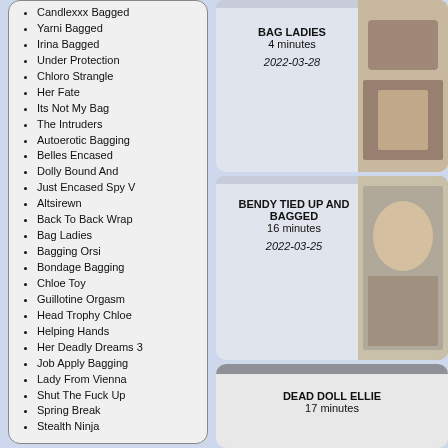Candlexxx Bagged
Yarni Bagged
Irina Bagged
Under Protection
Chloro Strangle
Her Fate
Its Not My Bag
The Intruders
Autoerotic Bagging
Belles Encased
Dolly Bound And
Just Encased Spy V
Altsirewn
Back To Back Wrap
Bag Ladies
Bagging Orsi
Bondage Bagging
Chloe Toy
Guillotine Orgasm
Head Trophy Chloe
Helping Hands
Her Deadly Dreams 3
Job Apply Bagging
Lady From Vienna
Shut The Fuck Up
Spring Break
Stealth Ninja
BAG LADIES
4 minutes
2022-03-28
[Figure (photo): Thumbnail image for Bag Ladies video]
BENDY TIED UP AND BAGGED
16 minutes
2022-03-25
[Figure (photo): Thumbnail image for Bendy Tied Up And Bagged video]
DEAD DOLL ELLIE
17 minutes